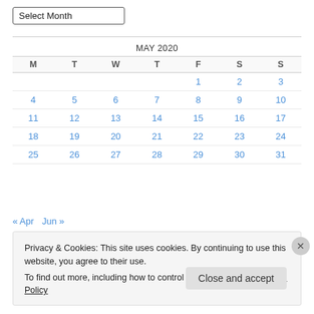Select Month
[Figure (other): Calendar for May 2020 showing dates 1-31 with navigation links to April and June]
« Apr   Jun »
Privacy & Cookies: This site uses cookies. By continuing to use this website, you agree to their use. To find out more, including how to control cookies, see here: Cookie Policy
Close and accept